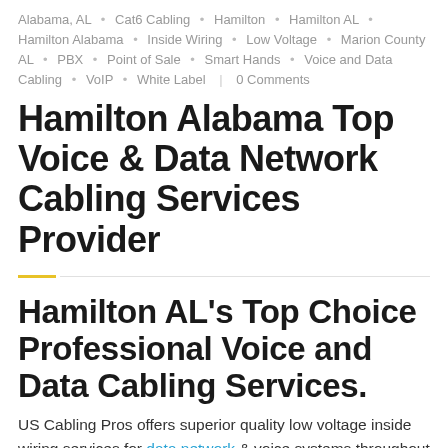Alabama, AL • Cat6 Cabling • Hamilton • Hamilton AL • Hamilton Alabama • Inside Wiring • Low Voltage • Marion County AL • PBX • Point of Sale • Smart Hands • Voice and Data Cabling • VoIP • White Label | 0 Comments
Hamilton Alabama Top Voice & Data Network Cabling Services Provider
Hamilton AL's Top Choice Professional Voice and Data Cabling Services.
US Cabling Pros offers superior quality low voltage inside wiring services for data network & voice systems throughout the entire Hamilton area. We offer superior onsite IT data cabling solutions from top to bottom, whether you need